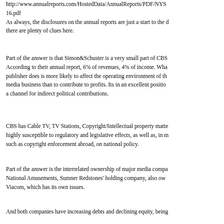http://www.annualreports.com/HostedData/AnnualReports/PDF/NYS 16.pdf As always, the disclosures on the annual reports are just a start to the d there are plenty of clues here.
Part of the answer is that Simon&Schuster is a very small part of CBS According to their annual report, 6% of revenues, 4% of income. Wha publisher does is more likely to affect the operating environment of th media business than to contribute to profits. Its in an excellent positio a channel for indirect political contributions.
CBS has Cable TV, TV Stations, Copyright/Intellectual property matte highly susceptible to regulatory and legislative effects, as well as, in m such as copyright enforcement abroad, on national policy.
Part of the answer is the interrelated ownership of major media compa National Amusements, Sumner Redstones' holding company, also ow Viacom, which has its own issues.
And both companies have increasing debts and declining equity, being